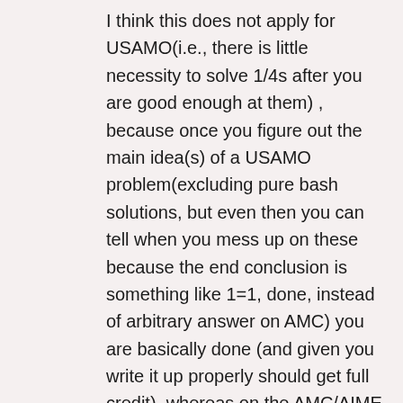I think this does not apply for USAMO(i.e., there is little necessity to solve 1/4s after you are good enough at them) , because once you figure out the main idea(s) of a USAMO problem(excluding pure bash solutions, but even then you can tell when you mess up on these because the end conclusion is something like 1=1, done, instead of arbitrary answer on AMC) you are basically done (and given you write it up properly should get full credit), whereas on the AMC/AIME the main ideas are typically easily identified but then a whole lot of number crunching-which you must do accurately-separates you from getting those 6 points. Therefore, when practicing for the AMC/AIME, I would recommend drilling those easy problems, as by doing these you practice the skills needed to cope with “silly mistakes” and “timesinks”. If you are unable to reach the